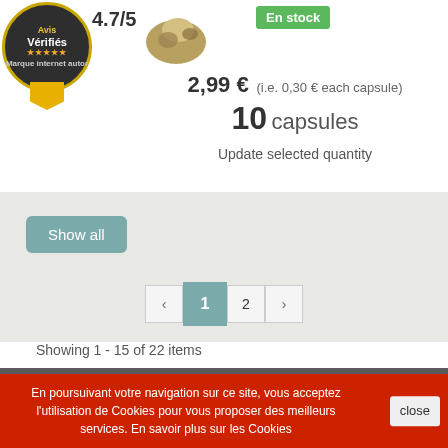[Figure (logo): Avis Vérifiés badge with star rating]
4.7/5
[Figure (photo): Product capsule image]
En stock
2,99 €  (i.e. 0,30 € each capsule)
10 capsules
Update selected quantity
Show all
1  2
Showing 1 - 15 of 22 items
Categories
En poursuivant votre navigation sur ce site, vous acceptez l'utilisation de Cookies pour vous proposer des meilleurs services. En savoir plus sur les Cookies